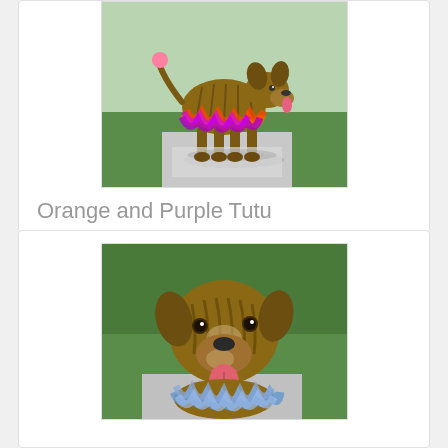[Figure (photo): Brindle dog standing on concrete/grass wearing an orange and purple tutu costume]
Orange and Purple Tutu
$19.95
Buy Now
[Figure (photo): Brindle dog with tongue out sitting on grass wearing a blue tutu]